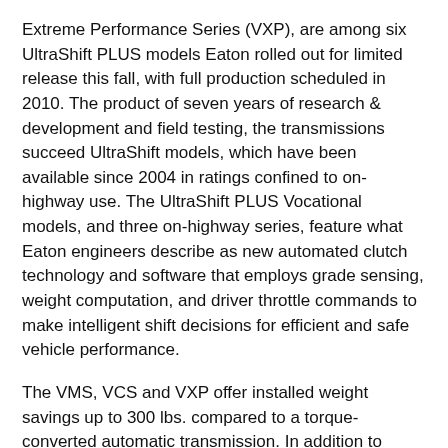Extreme Performance Series (VXP), are among six UltraShift PLUS models Eaton rolled out for limited release this fall, with full production scheduled in 2010. The product of seven years of research & development and field testing, the transmissions succeed UltraShift models, which have been available since 2004 in ratings confined to on-highway use. The UltraShift PLUS Vocational models, and three on-highway series, feature what Eaton engineers describe as new automated clutch technology and software that employs grade sensing, weight computation, and driver throttle commands to make intelligent shift decisions for efficient and safe vehicle performance.
The VMS, VCS and VXP offer installed weight savings up to 300 lbs. compared to a torque-converted automatic transmission. In addition to greater payload potential and net fuel economy, Eaton engineers note, the absence of a transfer case and attendant heat in the UltraShift PLUS equates to lower cooling requirements. Transmissions running at a cooler temperature become more significant in the face of EPA 2010-compliant